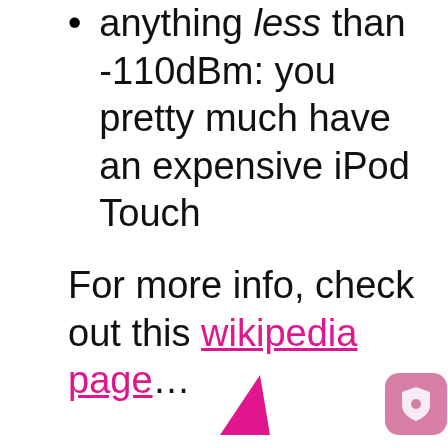anything less than -110dBm: you pretty much have an expensive iPod Touch
For more info, check out this wikipedia page…
[Figure (illustration): Partial pink/magenta triangular shape on the left and a rounded square icon with a shield symbol on the right, likely UI/app decorative elements]